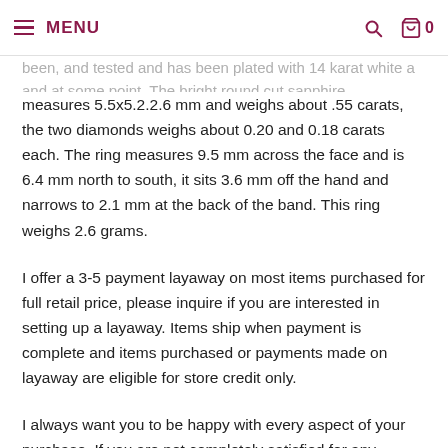MENU | search | cart 0
been, and tested and has been plated with 14 karat white and at some point. The bright round cut sapphire
measures 5.5x5.2.2.6 mm and weighs about .55 carats, the two diamonds weighs about 0.20 and 0.18 carats each. The ring measures 9.5 mm across the face and is 6.4 mm north to south, it sits 3.6 mm off the hand and narrows to 2.1 mm at the back of the band. This ring weighs 2.6 grams.
I offer a 3-5 payment layaway on most items purchased for full retail price, please inquire if you are interested in setting up a layaway. Items ship when payment is complete and items purchased or payments made on layaway are eligible for store credit only.
I always want you to be happy with every aspect of your purchase. If you are not completely satisfied for any